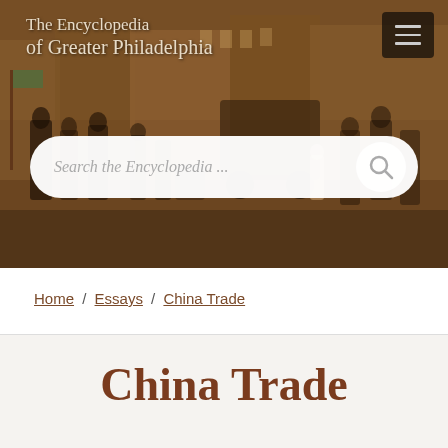The Encyclopedia of Greater Philadelphia
[Figure (illustration): Historical painting showing a street scene with multiple figures in period clothing, serving as the website header background image]
Search the Encyclopedia ...
Home / Essays / China Trade
China Trade